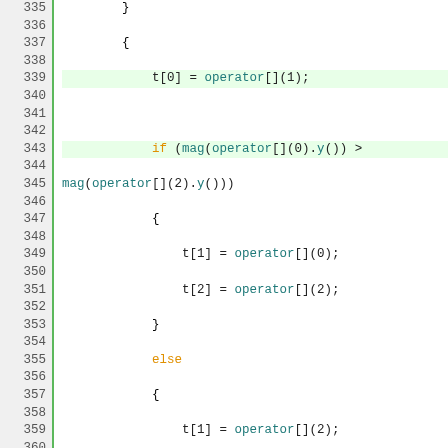[Figure (screenshot): Source code listing showing lines 335-367 of a C++ or similar language program. Code shows conditional logic for sorting operators into array t[] based on comparisons of mag() values. Green highlighted lines indicate current execution or selected lines. Syntax highlighting: orange for keywords (if, else), teal for function/method names (mag, operator, y), blue for identifiers.]